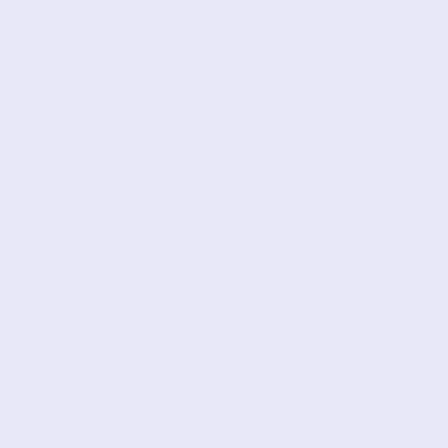href="http://www.faketagheuer.top/de/tag-heuer-kirium-wl131f... <img src="http://www.faketagheuer.top/de/images//tagheuer02_ KIRIUM/TAG-Heuer-Kirium-WL131F-BA0710.gif" alt="TAG WL131F.BA0710" title=" TAG Heuer Kirium WL131F.BA0710 height="256" /></a><a class="sidebox-products" href="http://www.faketagheuer.top/de/tag-heuer-kirium-wl131f 78.html">TAG Heuer Kirium WL131F.BA0710</a><div><spa class="normalprice">&euro;936.51 </span>&nbsp;<span class="productSpecialPrice">&euro;193.44</span><span class="productPriceDiscount"><br />Sie sparen 79% !</span>< class="sideBoxContent centeredContent"><a href="http://www.faketagheuer.top/de/tag-heuer-mercedes-benz p-57.html"><img src="http://www.faketagheuer.top/de/images/. HEUER-SLR/TAG-Heuer-Mercedes-Benz-SLR-CAG7010-FT6 Heuer Mercedes Benz SLR CAG7010.FT6013" title=" TAG He SLR CAG7010.FT6013 " width="130" height="229" /></a><a products" href="http://www.faketagheuer.top/de/tag-heuer-merc cag7010ft6013-p-57.html">TAG Heuer Mercedes Benz SLR CAG7010.FT6013</a><div><span class="normalprice">&euro </span>&nbsp;<span class="productSpecialPrice">&euro;204.( class="productPriceDiscount"><br />Sie sparen 77% !</span>< class="sideBoxContent centeredContent"><a href="http://www.faketagheuer.top/de/tag-heuer-link-wat2312b <img src="http://www.faketagheuer.top/de/images//tagheuer02. WATCHES/TAG-Heuer-Link-WAT2312-BA0956.gif" alt="TA(